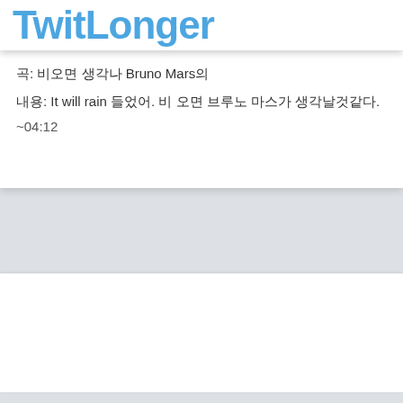TwitLonger
곡: 비오면 생각나 Bruno Mars의
내용: It will rain 들었어. 비 오면 브루노 마스가 생각날것같다.
~04:12